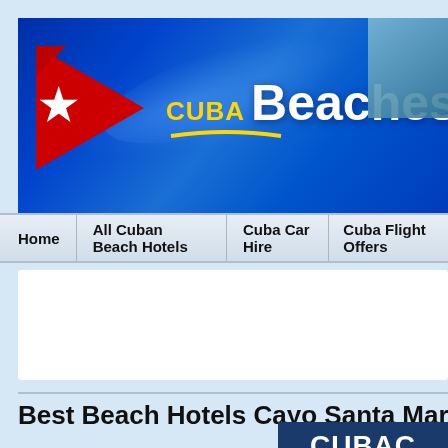[Figure (screenshot): Cuba Beaches website header banner with red triangle logo containing white star, yellow CUBA text and white Beaches text on blue gradient background]
Home | All Cuban Beach Hotels | Cuba Car Hire | Cuba Flight Offers
[Figure (other): White advertisement/content placeholder box]
Best Beach Hotels Cayo Santa Maria
[Figure (other): Dark navy blue box partially visible at bottom right showing CUBA and BON text (cropped)]